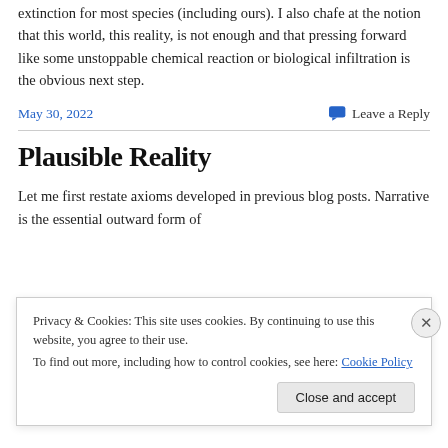extinction for most species (including ours). I also chafe at the notion that this world, this reality, is not enough and that pressing forward like some unstoppable chemical reaction or biological infiltration is the obvious next step.
May 30, 2022
Leave a Reply
Plausible Reality
Let me first restate axioms developed in previous blog posts. Narrative is the essential outward form of
Privacy & Cookies: This site uses cookies. By continuing to use this website, you agree to their use.
To find out more, including how to control cookies, see here: Cookie Policy
Close and accept